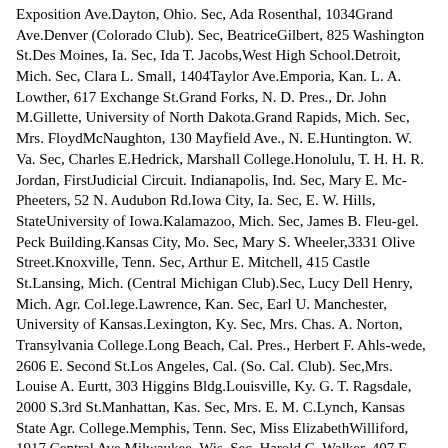Exposition Ave.Dayton, Ohio. Sec, Ada Rosenthal, 1034Grand Ave.Denver (Colorado Club). Sec, BeatriceGilbert, 825 Washington St.Des Moines, Ia. Sec, Ida T. Jacobs,West High School.Detroit, Mich. Sec, Clara L. Small, 1404Taylor Ave.Emporia, Kan. L. A. Lowther, 617 Exchange St.Grand Forks, N. D. Pres., Dr. John M.Gillette, University of North Dakota.Grand Rapids, Mich. Sec, Mrs. FloydMcNaughton, 130 Mayfield Ave., N. E.Huntington. W. Va. Sec, Charles E.Hedrick, Marshall College.Honolulu, T. H. H. R. Jordan, FirstJudicial Circuit. Indianapolis, Ind. Sec, Mary E. Mc-Pheeters, 52 N. Audubon Rd.Iowa City, Ia. Sec, E. W. Hills, StateUniversity of Iowa.Kalamazoo, Mich. Sec, James B. Fleu-gel. Peck Building.Kansas City, Mo. Sec, Mary S. Wheeler,3331 Olive Street.Knoxville, Tenn. Sec, Arthur E. Mitchell, 415 Castle St.Lansing, Mich. (Central Michigan Club).Sec, Lucy Dell Henry, Mich. Agr. Col.lege.Lawrence, Kan. Sec, Earl U. Manchester, University of Kansas.Lexington, Ky. Sec, Mrs. Chas. A. Norton, Transylvania College.Long Beach, Cal. Pres., Herbert F. Ahls-wede, 2606 E. Second St.Los Angeles, Cal. (So. Cal. Club). Sec,Mrs. Louise A. Eurtt, 303 Higgins Bldg.Louisville, Ky. G. T. Ragsdale, 2000 S.3rd St.Manhattan, Kas. Sec, Mrs. E. M. C.Lynch, Kansas State Agr. College.Memphis, Tenn. Sec, Miss ElizabethWilliford, 1917 Central Ave.Milwaukee, Wis. Sec, Harold C. Walker, 407 E. Water St.Minneapolis-St. Paul, Minn. (TwinCities Club). Sec, Mrs. Dorothy AugurSiverling, 2910 James Ave. S.Minneapolis, Minn. Sec, B. J. Zorker...